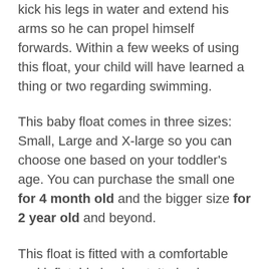kick his legs in water and extend his arms so he can propel himself forwards. Within a few weeks of using this float, your child will have learned a thing or two regarding swimming.
This baby float comes in three sizes: Small, Large and X-large so you can choose one based on your toddler's age. You can purchase the small one for 4 month old and the bigger size for 2 year old and beyond.
This float is fitted with a comfortable and inflatable backrest. It also has a seatbelt to keep your baby secure. And the last thing I should point is